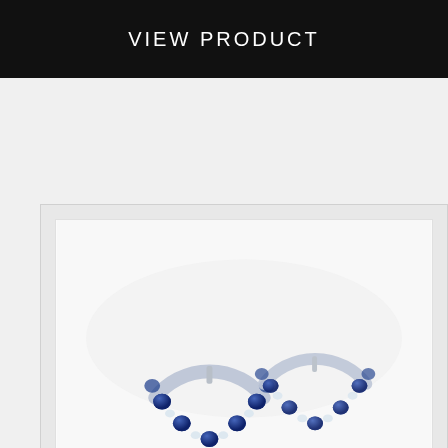VIEW PRODUCT
[Figure (photo): Photograph of two sapphire and diamond hoop earrings in white gold, featuring alternating round blue sapphires and small diamonds set around the band. The earrings are shown close-up against a soft white background.]